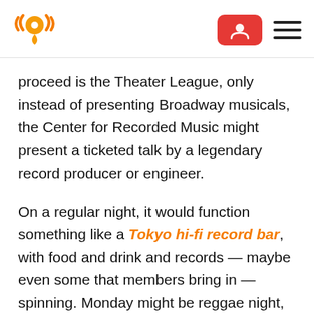[Logo: audio/location icon] [Red account button] [Hamburger menu]
proceed is the Theater League, only instead of presenting Broadway musicals, the Center for Recorded Music might present a ticketed talk by a legendary record producer or engineer.
On a regular night, it would function something like a Tokyo hi-fi record bar, with food and drink and records — maybe even some that members bring in — spinning. Monday might be reggae night, like at the old Grand Emporium. Displays of recorded sound technology throughout the decades could add a daytime educational component.